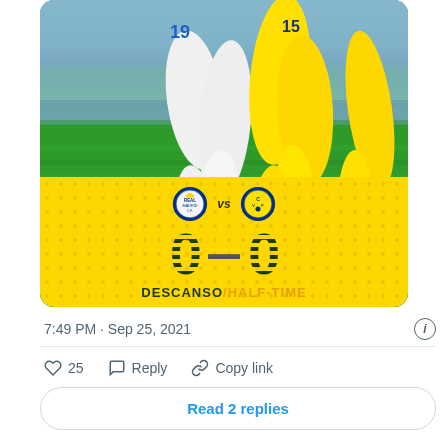[Figure (photo): Tweet screenshot showing a football match action photo of Real Madrid vs Villarreal players competing for the ball on the pitch, with a yellow scoreboard overlay showing 0-0 at half-time (DESCANSO/HALF-TIME), along with team badges. Below the image: timestamp 7:49 PM · Sep 25, 2021, like count 25, Reply and Copy link actions, and a 'Read 2 replies' button.]
7:49 PM · Sep 25, 2021
25  Reply  Copy link
Read 2 replies